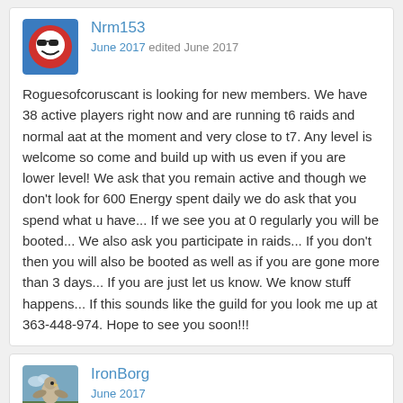[Figure (illustration): Avatar icon: blue square background with red circle containing a white face with sunglasses emoji]
Nrm153
June 2017 edited June 2017
Roguesofcoruscant is looking for new members. We have 38 active players right now and are running t6 raids and normal aat at the moment and very close to t7. Any level is welcome so come and build up with us even if you are lower level! We ask that you remain active and though we don't look for 600 Energy spent daily we do ask that you spend what u have... If we see you at 0 regularly you will be booted... We also ask you participate in raids... If you don't then you will also be booted as well as if you are gone more than 3 days... If you are just let us know. We know stuff happens... If this sounds like the guild for you look me up at 363-448-974. Hope to see you soon!!!
[Figure (photo): Avatar photo of IronBorg: outdoor scene with a bird or animal figure]
IronBorg
June 2017
Greetings